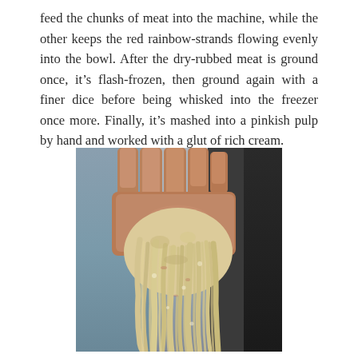feed the chunks of meat into the machine, while the other keeps the red rainbow-strands flowing evenly into the bowl. After the dry-rubbed meat is ground once, it's flash-frozen, then ground again with a finer dice before being whisked into the freezer once more. Finally, it's mashed into a pinkish pulp by hand and worked with a glut of rich cream.
[Figure (photo): A hand gripping and holding up shredded or pulled pale yellowish-white meat or food substance, with strands hanging down. The background is blurred with blue-grey tones on the left and dark tones on the right.]